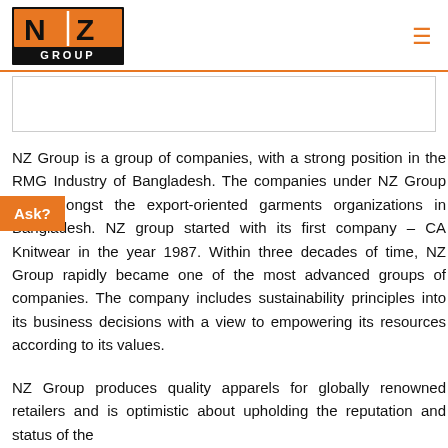[Figure (logo): NZ Group logo with orange and black design, N and Z letters separated by a vertical white line, GROUP text below in black box]
[Figure (other): Empty white image placeholder box with thin border]
NZ Group is a group of companies, with a strong position in the RMG Industry of Bangladesh. The companies under NZ Group are amongst the export-oriented garments organizations in Bangladesh. NZ group started with its first company – CA Knitwear in the year 1987. Within three decades of time, NZ Group rapidly became one of the most advanced groups of companies. The company includes sustainability principles into its business decisions with a view to empowering its resources according to its values.
NZ Group produces quality apparels for globally renowned retailers and is optimistic about upholding the reputation and status of the